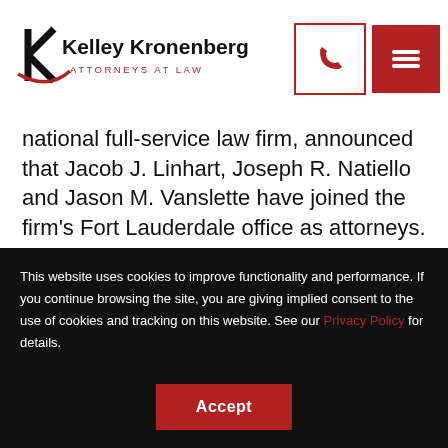[Figure (logo): Kelley Kronenberg Attorneys at Law logo with K lettermark in red and black]
national full-service law firm, announced that Jacob J. Linhart, Joseph R. Natiello and Jason M. Vanslette have joined the firm's Fort Lauderdale office as attorneys.
This website uses cookies to improve functionality and performance. If you continue browsing the site, you are giving implied consent to the use of cookies and tracking on this website. See our Privacy Policy for details.
Accept